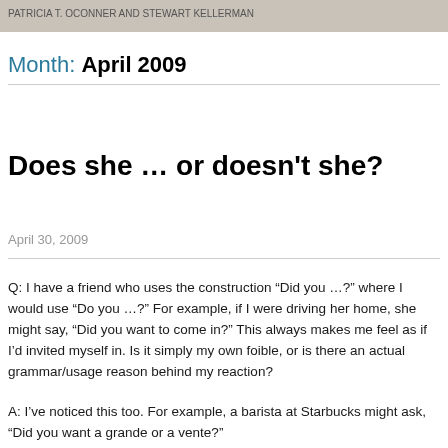PATRICIA T. OCONNER AND STEWART KELLERMAN
Month: April 2009
Does she … or doesn't she?
April 30, 2009
Q: I have a friend who uses the construction “Did you …?” where I would use “Do you …?” For example, if I were driving her home, she might say, “Did you want to come in?” This always makes me feel as if I’d invited myself in. Is it simply my own foible, or is there an actual grammar/usage reason behind my reaction?
A: I’ve noticed this too. For example, a barista at Starbucks might ask, “Did you want a grande or a vente?”